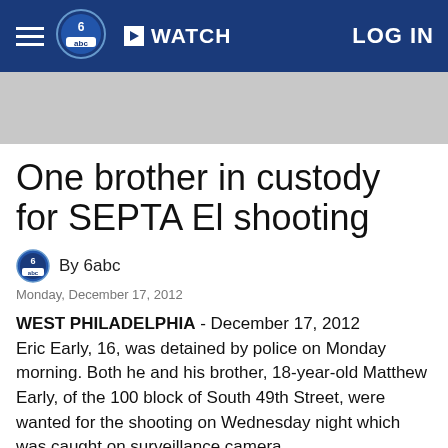WATCH  LOG IN
[Figure (other): Gray advertisement banner area]
One brother in custody for SEPTA El shooting
By 6abc
Monday, December 17, 2012
WEST PHILADELPHIA - December 17, 2012
Eric Early, 16, was detained by police on Monday morning. Both he and his brother, 18-year-old Matthew Early, of the 100 block of South 49th Street, were wanted for the shooting on Wednesday night which was caught on surveillance camera.